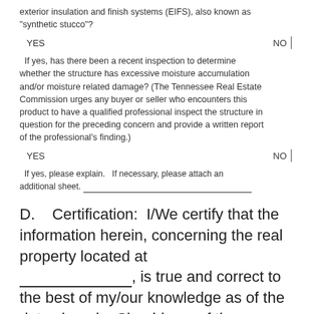exterior insulation and finish systems (EIFS), also known as "synthetic stucco"?
YES    NO
If yes, has there been a recent inspection to determine whether the structure has excessive moisture accumulation and/or moisture related damage?  (The Tennessee Real Estate Commission urges any buyer or seller who encounters this product to have a qualified professional inspect the structure in question for the preceding concern and provide a written report of the professional's finding.)
YES    NO
If yes, please explain.   If necessary, please attach an additional sheet. ___________________________________
D.   Certification:  I/We certify that the information herein, concerning the real property located at ___________________, is true and correct to the best of my/our knowledge as of the date signed.   Should any of these conditions change prior to conveyance of title to this property, these changes will be disclosed in addendum to this document.